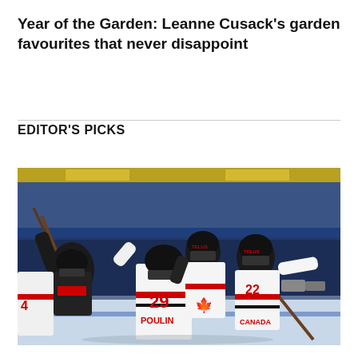Year of the Garden: Leanne Cusack's garden favourites that never disappoint
EDITOR'S PICKS
[Figure (photo): Canadian women's hockey players celebrating on ice, wearing white Canada jerseys with red maple leaf. Player number 29 POULIN is visible with arms raised. Players wear TELUS-sponsored helmets. Blue arena boards visible in background.]